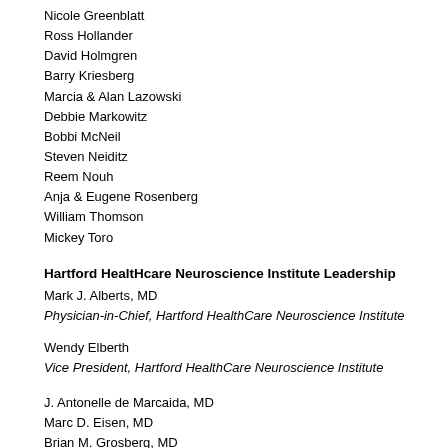Nicole Greenblatt
Ross Hollander
David Holmgren
Barry Kriesberg
Marcia & Alan Lazowski
Debbie Markowitz
Bobbi McNeil
Steven Neiditz
Reem Nouh
Anja & Eugene Rosenberg
William Thomson
Mickey Toro
Hartford HealtHcare Neuroscience Institute Leadership
Mark J. Alberts, MD
Physician-in-Chief, Hartford HealthCare Neuroscience Institute
Wendy Elberth
Vice President, Hartford HealthCare Neuroscience Institute
J. Antonelle de Marcaida, MD
Marc D. Eisen, MD
Brian M. Grosberg, MD